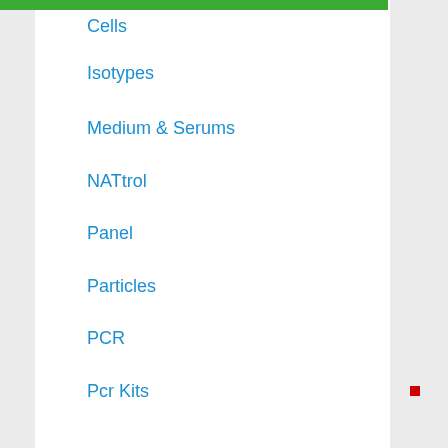Cells
Isotypes
Medium & Serums
NATtrol
Panel
Particles
PCR
Pcr Kits
Peptides
Reagents
Recombinant Proteins
Ria Kits
RNA
Test Kits